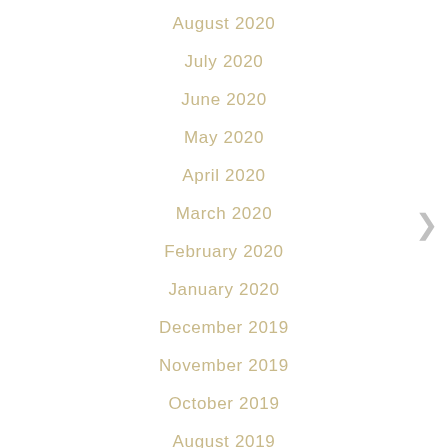August 2020
July 2020
June 2020
May 2020
April 2020
March 2020
February 2020
January 2020
December 2019
November 2019
October 2019
August 2019